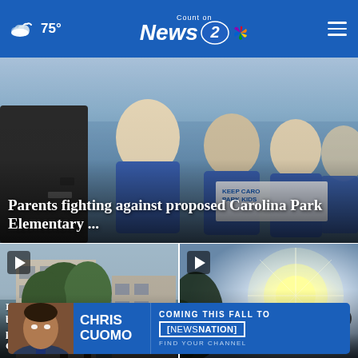75° | Count on News 2 NBC
[Figure (photo): Parents and children in blue shirts holding signs at Carolina Park Elementary protest]
Parents fighting against proposed Carolina Park Elementary ...
[Figure (photo): Video thumbnail of proposed two-building story - a building with trees]
Proposed two-building... proposed... Charleston...
[Figure (photo): Video thumbnail showing bright light/sun flare scene with Committee topic]
[Figure (screenshot): Advertisement banner: Chris Cuomo Coming This Fall to NewsNation - Find Your Channel]